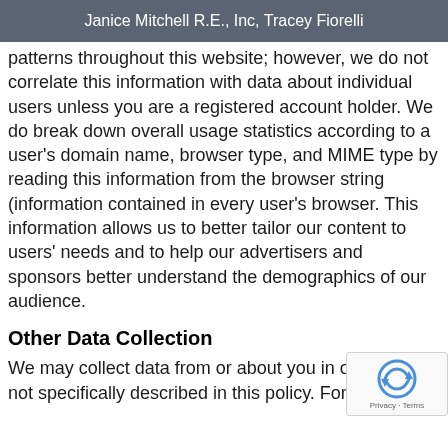Janice Mitchell R.E., Inc, Tracey Fiorelli
patterns throughout this website; however, we do not correlate this information with data about individual users unless you are a registered account holder. We do break down overall usage statistics according to a user’s domain name, browser type, and MIME type by reading this information from the browser string (information contained in every user’s browser. This information allows us to better tailor our content to users’ needs and to help our advertisers and sponsors better understand the demographics of our audience.
Other Data Collection
We may collect data from or about you in other ways not specifically described in this policy. For